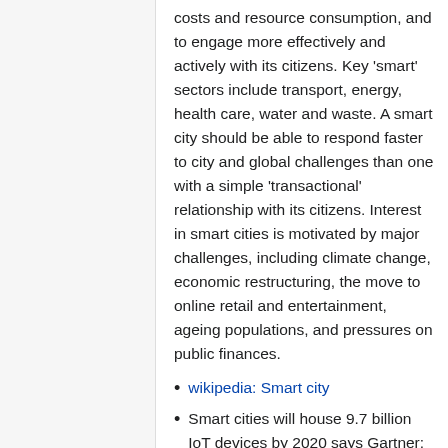costs and resource consumption, and to engage more effectively and actively with its citizens. Key 'smart' sectors include transport, energy, health care, water and waste. A smart city should be able to respond faster to city and global challenges than one with a simple 'transactional' relationship with its citizens. Interest in smart cities is motivated by major challenges, including climate change, economic restructuring, the move to online retail and entertainment, ageing populations, and pressures on public finances.
wikipedia: Smart city
Smart cities will house 9.7 billion IoT devices by 2020 says Gartner: http://www.zdnet.com/article/smart-cities-will-house-9-7-billion-iot-devices-by-2020-gartner/